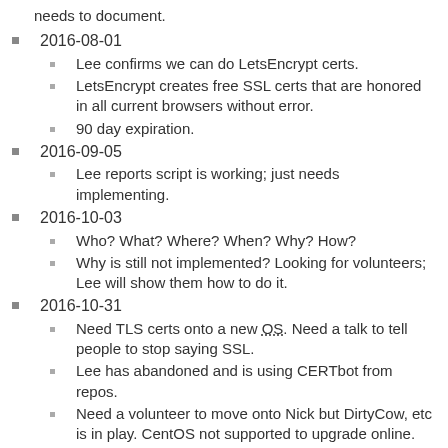needs to document.
2016-08-01
Lee confirms we can do LetsEncrypt certs.
LetsEncrypt creates free SSL certs that are honored in all current browsers without error.
90 day expiration.
2016-09-05
Lee reports script is working; just needs implementing.
2016-10-03
Who? What? Where? When? Why? How?
Why is still not implemented? Looking for volunteers; Lee will show them how to do it.
2016-10-31
Need TLS certs onto a new OS. Need a talk to tell people to stop saying SSL.
Lee has abandoned and is using CERTbot from repos.
Need a volunteer to move onto Nick but DirtyCow, etc is in play. CentOS not supported to upgrade online. Even SuSe allows it.